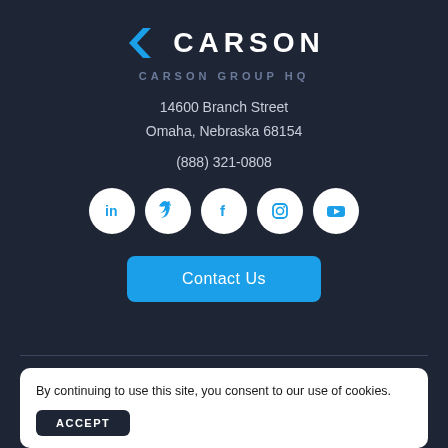[Figure (logo): Carson Group logo: blue left-pointing chevron with CARSON text in white bold letters]
CARSON GROUP HQ
14600 Branch Street
Omaha, Nebraska 68154
(888) 321-0808
[Figure (other): Social media icons row: LinkedIn, Twitter, Facebook, Instagram, YouTube — white circles on dark background]
Contact Us
By continuing to use this site, you consent to our use of cookies.
ACCEPT